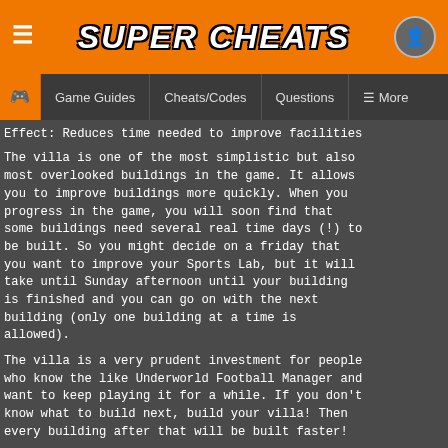SUPER CHEATS
Game Guides | Cheats/Codes | Questions | More
Effect: Reduces time needed to improve facilities
The villa is one of the most simplistic but also most overlooked buildings in the game. It allows you to improve buildings more quickly. When you progress in the game, you will soon find that some buildings need several real time days (!) to be built. So you might decide on a friday that you want to improve your Sports Lab, but it will take until Sunday afternoon until your building is finished and you can go on with the next building (only one building at a time is allowed).
The villa is a very prudent investment for people who know the like Underworld Football Manager and want to keep playing it for a while. If you don't know what to build next, build your villa! Then every building after that will be built faster!
The best buildings to archive this with is...